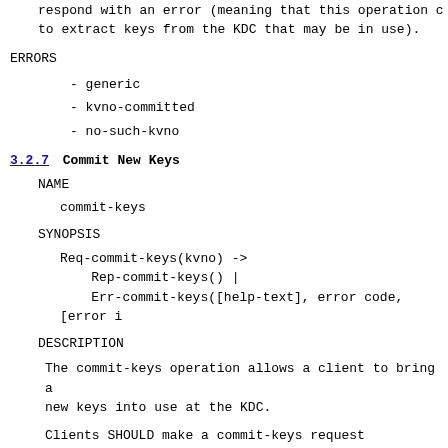respond with an error (meaning that this operation c to extract keys from the KDC that may be in use).
ERRORS
- generic
- kvno-committed
- no-such-kvno
3.2.7  Commit New Keys
NAME
commit-keys
SYNOPSIS
Req-commit-keys(kvno) ->
    Rep-commit-keys() |
    Err-commit-keys([help-text], error code, [error i
DESCRIPTION
The commit-keys operation allows a client to bring a new keys into use at the KDC.
Clients SHOULD make a commit-keys request correspond deferred commitment set-keys/gen-keys operation as s local key database for the target principal is updat
The statem...